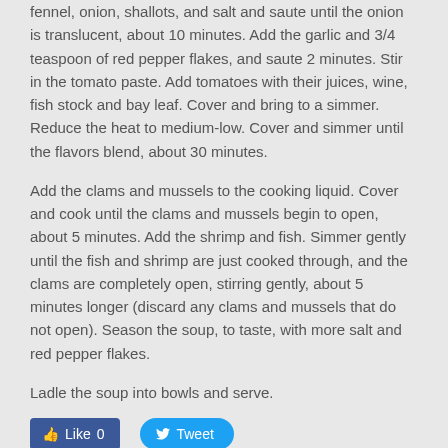fennel, onion, shallots, and salt and saute until the onion is translucent, about 10 minutes. Add the garlic and 3/4 teaspoon of red pepper flakes, and saute 2 minutes. Stir in the tomato paste. Add tomatoes with their juices, wine, fish stock and bay leaf. Cover and bring to a simmer. Reduce the heat to medium-low. Cover and simmer until the flavors blend, about 30 minutes.
Add the clams and mussels to the cooking liquid. Cover and cook until the clams and mussels begin to open, about 5 minutes. Add the shrimp and fish. Simmer gently until the fish and shrimp are just cooked through, and the clams are completely open, stirring gently, about 5 minutes longer (discard any clams and mussels that do not open). Season the soup, to taste, with more salt and red pepper flakes.
Ladle the soup into bowls and serve.
[Figure (other): Social media buttons: Facebook Like button showing 0 likes, and Twitter Tweet button]
0 Comments